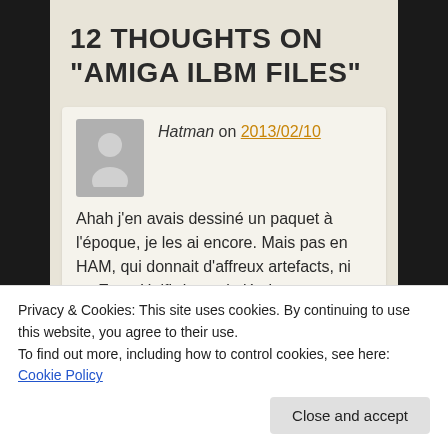12 THOUGHTS ON "AMIGA ILBM FILES"
[Figure (illustration): Gray avatar placeholder image showing a silhouette of a person]
Hatman on 2013/02/10
Ahah j'en avais dessiné un paquet à l'époque, je les ai encore. Mais pas en HAM, qui donnait d'affreux artefacts, ni en Extra Halfbrite, qui n'était pas tellement utilisable.
Et il y avait ces résolutions
Privacy & Cookies: This site uses cookies. By continuing to use this website, you agree to their use.
To find out more, including how to control cookies, see here: Cookie Policy
Close and accept